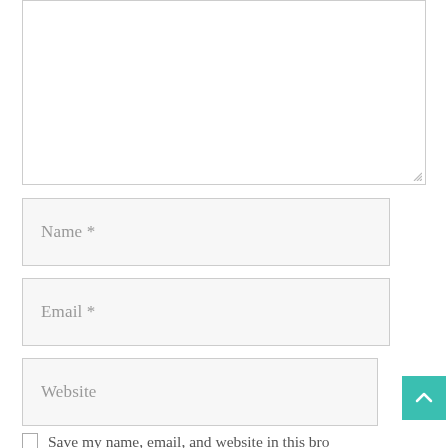[Figure (screenshot): A comment form showing a large textarea at the top (mostly empty, with a resize handle at bottom-right), followed by two input fields labeled 'Name *' and 'Email *' with gray backgrounds, then a 'Website' input field, a teal scroll-to-top button with a chevron, and a checkbox with text 'Save my name, email, and website in this browser for the next time I comment.']